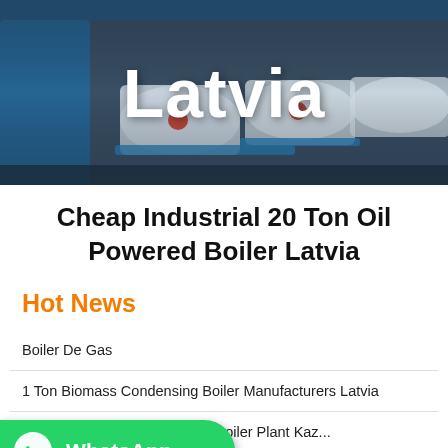[Figure (photo): Hero image showing industrial boilers with dark gray background and bold white 'Latvia' text overlay]
Cheap Industrial 20 Ton Oil Powered Boiler Latvia
Hot News
Boiler De Gas
1 Ton Biomass Condensing Boiler Manufacturers Latvia
Energy Saving 10t Conrading Boiler Plant Kazakhstan